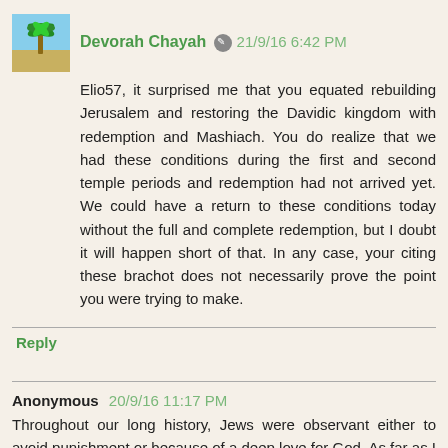Devorah Chayah ✎ 21/9/16 6:42 PM
Elio57, it surprised me that you equated rebuilding Jerusalem and restoring the Davidic kingdom with redemption and Mashiach. You do realize that we had these conditions during the first and second temple periods and redemption had not arrived yet. We could have a return to these conditions today without the full and complete redemption, but I doubt it will happen short of that. In any case, your citing these brachot does not necessarily prove the point you were trying to make.
Reply
Anonymous 20/9/16 11:17 PM
Throughout our long history, Jews were observant either to avoid punishment or because of a deep love for God. As far as I know, no one ever did it in order to bring Mashiach. There seems to be almost an obsession with redemption